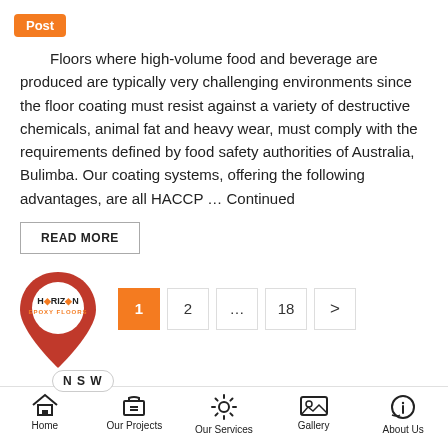Post
Floors where high-volume food and beverage are produced are typically very challenging environments since the floor coating must resist against a variety of destructive chemicals, animal fat and heavy wear, must comply with the requirements defined by food safety authorities of Australia, Bulimba. Our coating systems, offering the following advantages, are all HACCP … Continued
READ MORE
[Figure (logo): Horizon Epoxy Floors logo inside a red map pin / location marker shape]
[Figure (other): Pagination: page 1 (active, orange), 2, ..., 18, next arrow (>)]
Home | Our Projects | Our Services | Gallery | About Us